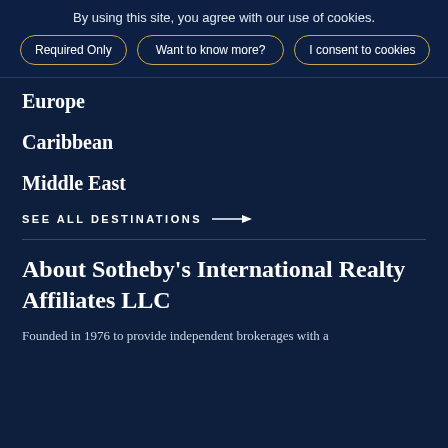By using this site, you agree with our use of cookies.
Required Only
Want to know more?
I consent to cookies
Europe
Caribbean
Middle East
SEE ALL DESTINATIONS →
About Sotheby's International Realty Affiliates LLC
Founded in 1976 to provide independent brokerages with a